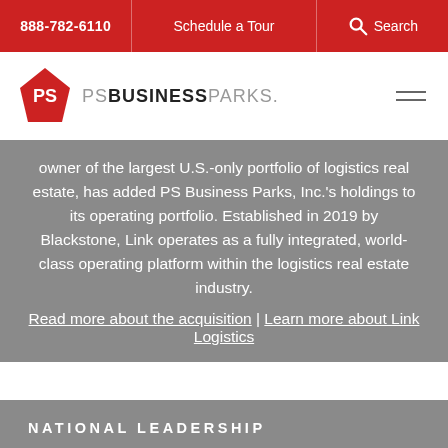888-782-6110 | Schedule a Tour | Search
[Figure (logo): PS Business Parks logo with red diamond icon and gray/black text]
owner of the largest U.S.-only portfolio of logistics real estate, has added PS Business Parks, Inc.'s holdings to its operating portfolio. Established in 2019 by Blackstone, Link operates as a fully integrated, world-class operating platform within the logistics real estate industry. Read more about the acquisition | Learn more about Link Logistics
NATIONAL LEADERSHIP